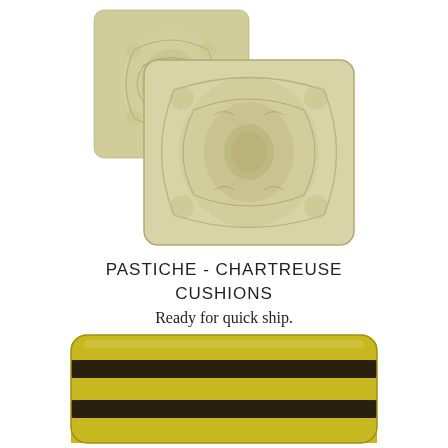[Figure (photo): Two decorative cushions with chartreuse and cream paisley/damask pattern, overlapping, shown against white background]
PASTICHE - CHARTREUSE CUSHIONS
Ready for quick ship.
[Figure (photo): A rectangular decorative cushion with alternating yellow/chartreuse and black horizontal stripes, shown against white background]